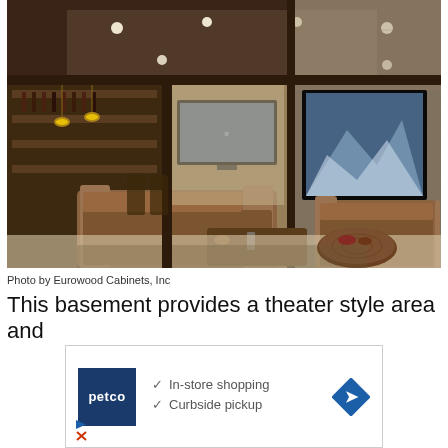[Figure (photo): Interior photo of a luxury basement home theater and entertainment area with brown leather sofas, large flat screen TV mounted on stone wall, bar area with cabinetry and pendant lights in background, recessed ceiling lights]
Photo by Eurowood Cabinets, Inc
This basement provides a theater style area and
[Figure (other): Petco advertisement with logo, checkmarks for In-store shopping and Curbside pickup, blue diamond arrow icon]